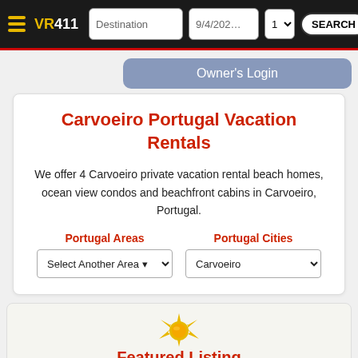VR411 Destination 9/4/2022 1 SEARCH
Owner's Login
Carvoeiro Portugal Vacation Rentals
We offer 4 Carvoeiro private vacation rental beach homes, ocean view condos and beachfront cabins in Carvoeiro, Portugal.
Portugal Areas
Portugal Cities
Select Another Area
Carvoeiro
Featured Listing